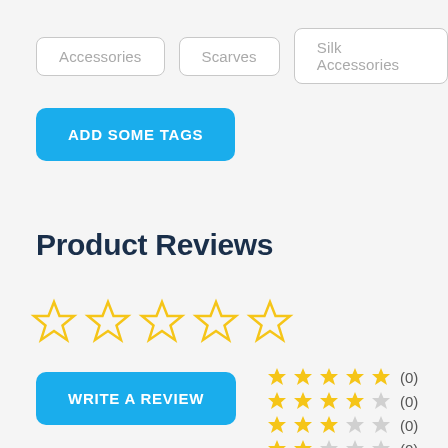Accessories
Scarves
Silk Accessories
ADD SOME TAGS
Product Reviews
[Figure (other): Five empty star rating icons in gold outline]
WRITE A REVIEW
[Figure (other): Rating breakdown: 5 stars (0), 4 stars (0), 3 stars (0), 2 stars (0)]